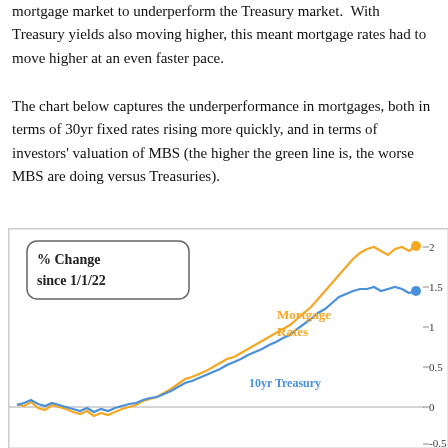mortgage market to underperform the Treasury market. With Treasury yields also moving higher, this meant mortgage rates had to move higher at an even faster pace.
The chart below captures the underperformance in mortgages, both in terms of 30yr fixed rates rising more quickly, and in terms of investors' valuation of MBS (the higher the green line is, the worse MBS are doing versus Treasuries).
[Figure (continuous-plot): Line chart showing % change since 1/1/22 for Mortgage Rates (orange line) and 10yr Treasury (blue line). Both start near 0, with mortgage rates rising faster and reaching approximately +2 by the end, while 10yr Treasury reaches approximately +1.5. The lines start flat and then trend strongly upward in the latter half of the chart.]